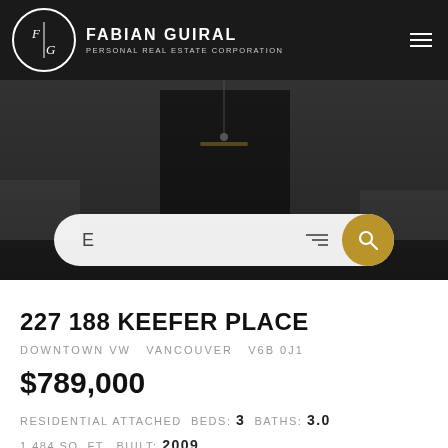[Figure (logo): Fabian Guiral Personal Real Estate Corporation logo with circular FG monogram on black header bar]
[Figure (photo): Dark luxury living room interior with modern fireplace and pendant lights, used as hero background image with search bar overlay]
227 188 KEEFER PLACE
DOWNTOWN VW   VANCOUVER   V6B 0J1
$789,000
RESIDENTIAL ATTACHED  BEDS: 3  BATHS: 3.0  1,484 SQ. FT.  BUILT: 2009